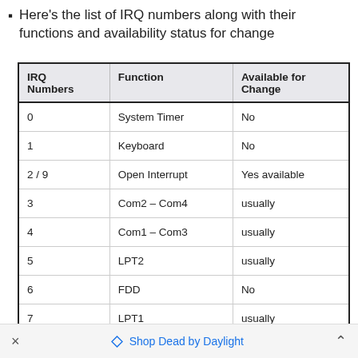Here's the list of IRQ numbers along with their functions and availability status for change
| IRQ Numbers | Function | Available for Change |
| --- | --- | --- |
| 0 | System Timer | No |
| 1 | Keyboard | No |
| 2 / 9 | Open Interrupt | Yes available |
| 3 | Com2 – Com4 | usually |
| 4 | Com1 – Com3 | usually |
| 5 | LPT2 | usually |
| 6 | FDD | No |
| 7 | LPT1 | usually |
× Shop Dead by Daylight ^